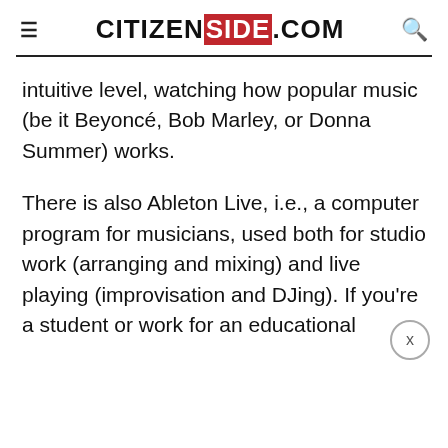CITIZENSIDE.COM
intuitive level, watching how popular music (be it Beyoncé, Bob Marley, or Donna Summer) works.
There is also Ableton Live, i.e., a computer program for musicians, used both for studio work (arranging and mixing) and live playing (improvisation and DJing). If you're a student or work for an educational